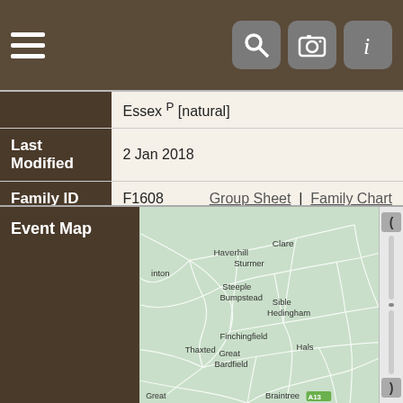|  | Essex P [natural] |
| Last Modified | 2 Jan 2018 |
| Family ID | F1608  Group Sheet | Family Chart |
[Figure (map): Event map showing Essex region of England including towns: Haverhill, Clare, Sturmer, Steeple Bumpstead, Sible Hedingham, Finchingfield, Thaxted, Great Bardfield, Hals (truncated), Braintree (truncated), Great (truncated), with road network overlaid on green terrain.]